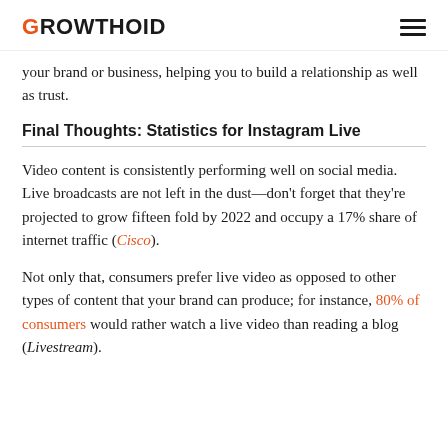GROWTHOID
your brand or business, helping you to build a relationship as well as trust.
Final Thoughts: Statistics for Instagram Live
Video content is consistently performing well on social media. Live broadcasts are not left in the dust—don't forget that they're projected to grow fifteen fold by 2022 and occupy a 17% share of internet traffic (Cisco).
Not only that, consumers prefer live video as opposed to other types of content that your brand can produce; for instance, 80% of consumers would rather watch a live video than reading a blog (Livestream).